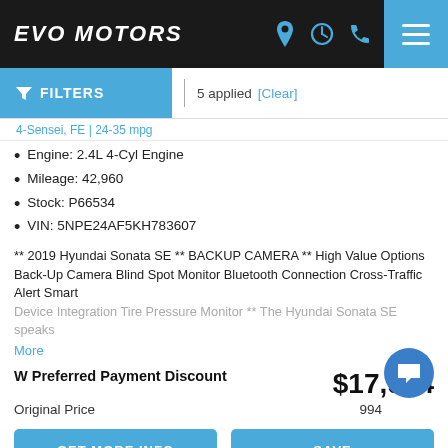EVO MOTORS
FILTERS | 5 applied [Clear]
4-Sensei, FE | 24-35 mpg
Engine: 2.4L 4-Cyl Engine
Mileage: 42,960
Stock: P66534
VIN: 5NPE24AF5KH783607
** 2019 Hyundai Sonata SE ** BACKUP CAMERA ** High Value Options Back-Up Camera Blind Spot Monitor Bluetooth Connection Cross-Traffic Alert Smart Device Integration Tire Pressure Monitor ** The Hyundai Sonata SE speaks
More
W Preferred Payment Discount   $17,994
Original Price   $17,994
GET MORE INFO   SAVE